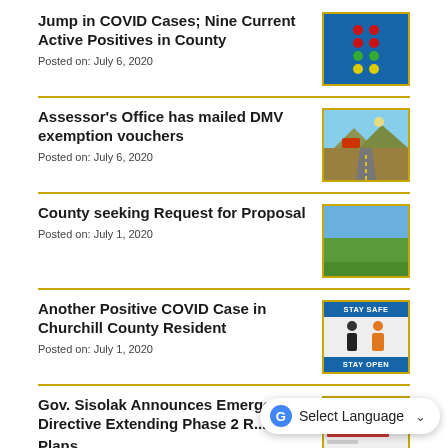Jump in COVID Cases; Nine Current Active Positives in County
Posted on: July 6, 2020
Assessor's Office has mailed DMV exemption vouchers
Posted on: July 6, 2020
County seeking Request for Proposal
Posted on: July 1, 2020
Another Positive COVID Case in Churchill County Resident
Posted on: July 1, 2020
Gov. Sisolak Announces Emergency Directive Extending Phase 2 Re... Plans